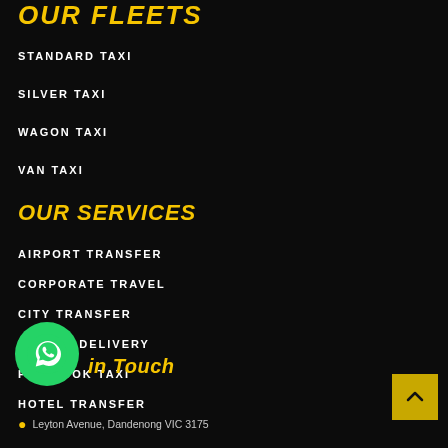OUR FLEETS
STANDARD TAXI
SILVER TAXI
WAGON TAXI
VAN TAXI
OUR SERVICES
AIRPORT TRANSFER
CORPORATE TRAVEL
CITY TRANSFER
PARCEL DELIVERY
PRE BOOK TAXI
HOTEL TRANSFER
Get in Touch
Leyton Avenue, Dandenong VIC 3175